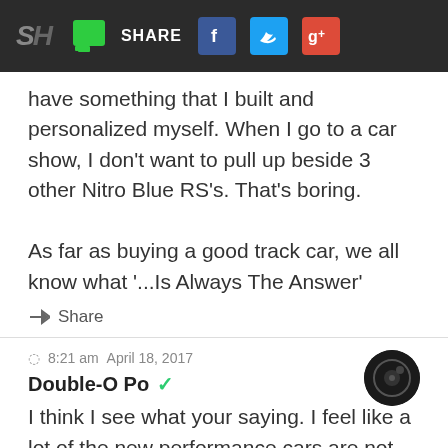SH | SHARE (Facebook, Twitter, Google+)
have something that I built and personalized myself. When I go to a car show, I don't want to pull up beside 3 other Nitro Blue RS's. That's boring.

As far as buying a good track car, we all know what '...Is Always The Answer'
Share
8:21 am  April 18, 2017
Double-O Po ✓
I think I see what your saying. I feel like a lot of the new performance cars are not cars we can lust after or drop our jaws after actually seeing one. I still